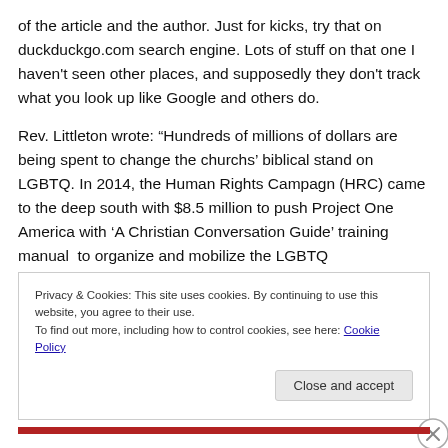of the article and the author. Just for kicks, try that on duckduckgo.com search engine. Lots of stuff on that one I haven't seen other places, and supposedly they don't track what you look up like Google and others do.
Rev. Littleton wrote: “Hundreds of millions of dollars are being spent to change the churchs’ biblical stand on LGBTQ. In 2014, the Human Rights Campagn (HRC) came to the deep south with $8.5 million to push Project One America with ‘A Christian Conversation Guide’ training manual  to organize and mobilize the LGBTQ
Privacy & Cookies: This site uses cookies. By continuing to use this website, you agree to their use.
To find out more, including how to control cookies, see here: Cookie Policy